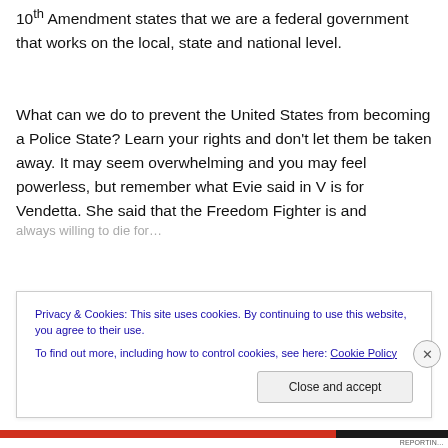10th Amendment states that we are a federal government that works on the local, state and national level.
What can we do to prevent the United States from becoming a Police State?  Learn your rights and don't let them be taken away.  It may seem overwhelming and you may feel powerless, but remember what Evie said in V is for Vendetta. She said that the Freedom Fighter is and
Privacy & Cookies: This site uses cookies. By continuing to use this website, you agree to their use.
To find out more, including how to control cookies, see here: Cookie Policy
Close and accept